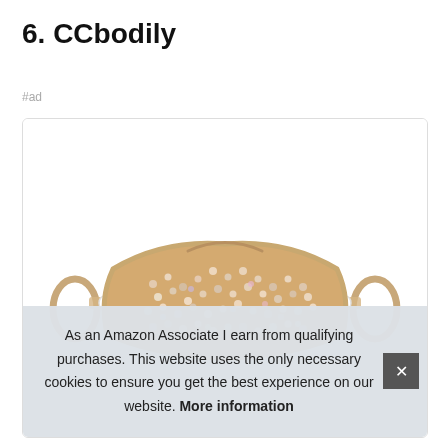6. CCbodily
#ad
[Figure (photo): A rhinestone-covered face mask with tan elastic ear loops, lying flat, showing sparkly crystal embellishments across the front surface.]
As an Amazon Associate I earn from qualifying purchases. This website uses the only necessary cookies to ensure you get the best experience on our website. More information